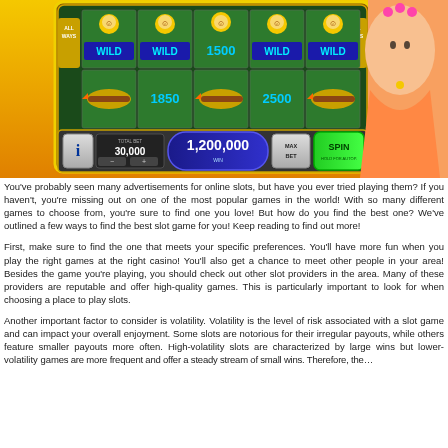[Figure (screenshot): Screenshot of an online slot machine game showing reels with WILD symbols, numbers 1500, 1850, 2500, a total bet of 30,000, balance of 1,200,000, MAX BET and SPIN buttons, with a decorative female character on the right side.]
You've probably seen many advertisements for online slots, but have you ever tried playing them? If you haven't, you're missing out on one of the most popular games in the world! With so many different games to choose from, you're sure to find one you love! But how do you find the best one? We've outlined a few ways to find the best slot game for you! Keep reading to find out more!
First, make sure to find the one that meets your specific preferences. You'll have more fun when you play the right games at the right casino! You'll also get a chance to meet other people in your area! Besides the game you're playing, you should check out other slot providers in the area. Many of these providers are reputable and offer high-quality games. This is particularly important to look for when choosing a place to play slots.
Another important factor to consider is volatility. Volatility is the level of risk associated with a slot game and can impact your overall enjoyment. Some slots are notorious for their irregular payouts, while others feature smaller payouts more often. High-volatility slots are characterized by large wins but lower-volatility games are more frequent and offer a steady stream of small wins. Therefore, the...